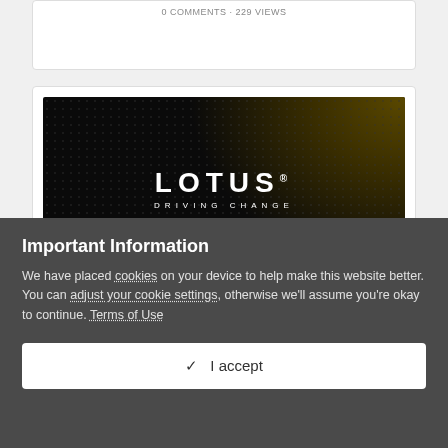[Figure (screenshot): Partially visible white card with faint text at top]
[Figure (logo): Lotus ESG Charter image: dark background with dotted texture and golden gradient, featuring LOTUS DRIVING CHANGE text and ESG charter circular badge]
Important Information
We have placed cookies on your device to help make this website better. You can adjust your cookie settings, otherwise we'll assume you're okay to continue. Terms of Use
✓  I accept